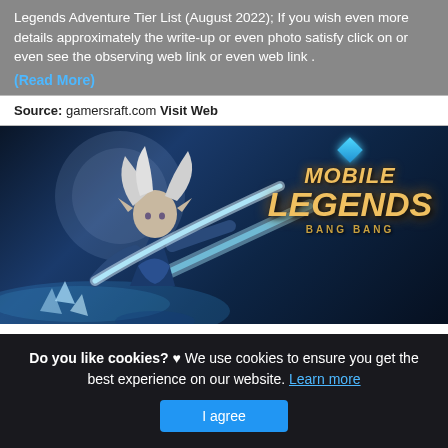Legends Adventure Tier List (August 2022); If you wish even more details approximately the write-up or even photo satisfy click on or even see the observing web link or even web link .
(Read More)
Source: gamersraft.com Visit Web
[Figure (illustration): Mobile Legends Bang Bang game promotional image featuring an elf-type female character with silver hair wielding a glowing blue blade, with the Mobile Legends Bang Bang logo in the upper right corner on a dark blue fantasy background with swirling light effects.]
Do you like cookies? ♥ We use cookies to ensure you get the best experience on our website. Learn more
I agree